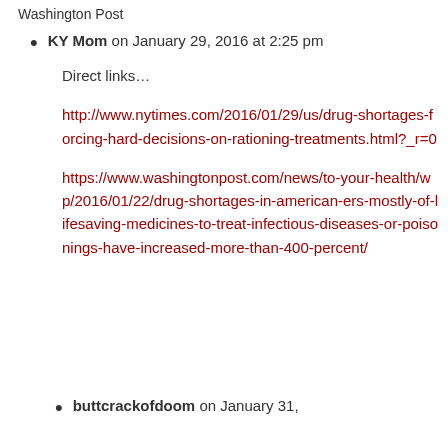Washington Post
KY Mom on January 29, 2016 at 2:25 pm

Direct links…

http://www.nytimes.com/2016/01/29/us/drug-shortages-forcing-hard-decisions-on-rationing-treatments.html?_r=0

https://www.washingtonpost.com/news/to-your-health/wp/2016/01/22/drug-shortages-in-american-ers-mostly-of-lifesaving-medicines-to-treat-infectious-diseases-or-poisonings-have-increased-more-than-400-percent/
buttcrackofdoom on January 31,